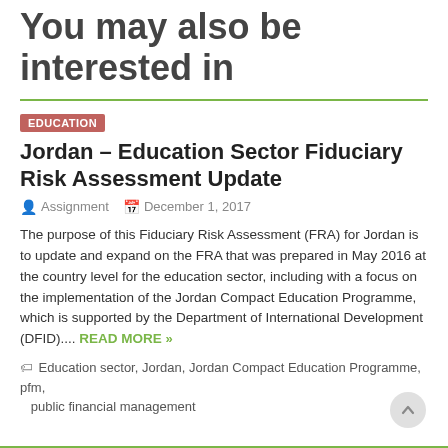You may also be interested in
EDUCATION
Jordan – Education Sector Fiduciary Risk Assessment Update
Assignment   December 1, 2017
The purpose of this Fiduciary Risk Assessment (FRA) for Jordan is to update and expand on the FRA that was prepared in May 2016 at the country level for the education sector, including with a focus on the implementation of the Jordan Compact Education Programme, which is supported by the Department of International Development (DFID).... READ MORE »
Education sector, Jordan, Jordan Compact Education Programme, pfm, public financial management